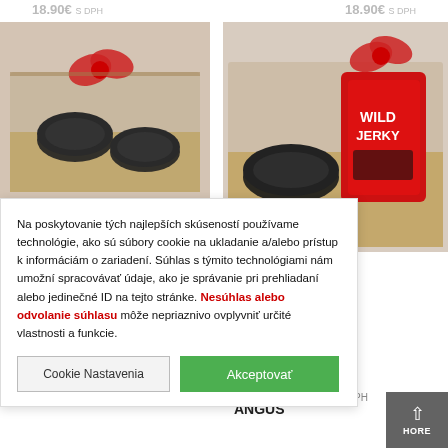18.90€ s DPH   18.90€ s DPH
[Figure (photo): Gift box with dark tins and red decorative bow on straw]
[Figure (photo): Gift box with dark tins, Wild Jerky red package and red decorative bow on straw]
Na poskytovanie tých najlepších skúseností používame technológie, ako sú súbory cookie na ukladanie a/alebo prístup k informáciám o zariadení. Súhlas s týmito technológiami nám umožní spracovávať údaje, ako je správanie pri prehliadaní alebo jedinečné ID na tejto stránke. Nesúhlas alebo odvolanie súhlasu môže nepriaznivo ovplyvniť určité vlastnosti a funkcie.
Cookie Nastavenia
Akceptovať
ekový balíček ANGUS
2.60€ s DPH
HORE